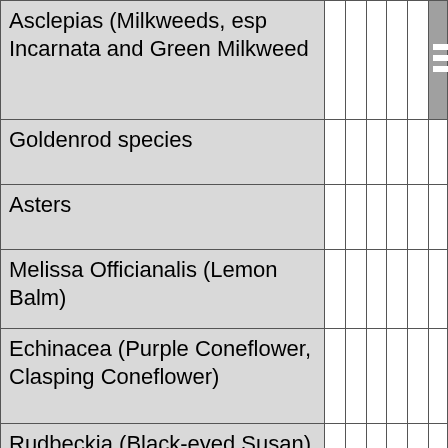| Plant Name |  |  |  |  |  |  |  |
| --- | --- | --- | --- | --- | --- | --- | --- |
| Asclepias (Milkweeds, esp Incarnata and Green Milkweed |  |  |  |  |  |  |  |
| Goldenrod species |  |  |  |  |  |  |  |
| Asters |  |  |  |  |  |  |  |
| Melissa Officianalis (Lemon Balm) |  |  |  |  |  |  |  |
| Echinacea (Purple Coneflower, Clasping Coneflower) |  |  |  |  |  |  |  |
| Rudbeckia (Black-eyed Susan) |  |  |  |  |  |  |  |
| Monarda (Spotted Bee Balm) |  |  |  |  |  |  |  |
| Lobelia (Native Blue) |  |  |  |  |  |  |  |
| Cosmos (Single flowered varieties |  |  |  |  |  |  |  |